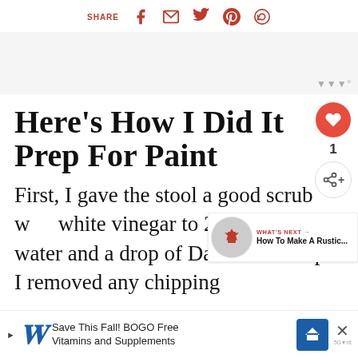SHARE [facebook] [email] [twitter] [pinterest] [whatsapp]
[Figure (other): Light grey advertisement banner placeholder with 'w°' watermark in lower right]
Here's How I Did It Prep For Paint
First, I gave the stool a good scrub with white vinegar to 2 parts warm water and a drop of Dawn dish soap. I removed any chipping pai…
[Figure (other): What's Next widget showing a circular thumbnail image and text 'How To Make A Rustic...']
[Figure (other): Bottom advertisement banner: Walgreens 'Save This Fall! BOGO Free Vitamins and Supplements']